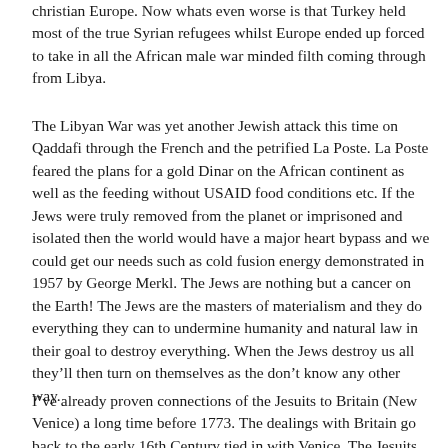christian Europe.  Now whats even worse is that Turkey held most of the true Syrian refugees whilst Europe ended up forced to take in all the African male war minded filth coming through from Libya.
The Libyan War was yet another Jewish attack this time on Qaddafi through the French and the petrified La Poste.  La Poste feared the plans for a gold Dinar on the African continent as well as the feeding without USAID food conditions etc.  If the Jews were truly removed from the planet or imprisoned and isolated then the world would have a major heart bypass and we could get our needs such as cold fusion energy demonstrated in 1957 by George Merkl.  The Jews are nothing but a cancer on the Earth!  The Jews are the masters of materialism and they do everything they can to undermine humanity and natural law in their goal to destroy everything.  When the Jews destroy us all they’ll then turn on themselves as the don’t know any other way.
I’ve already proven connections of the Jesuits to Britain (New Venice) a long time before 1773.  The dealings with Britain go back to the early 16th Century tied in with Venice.  The Jesuits had to move their